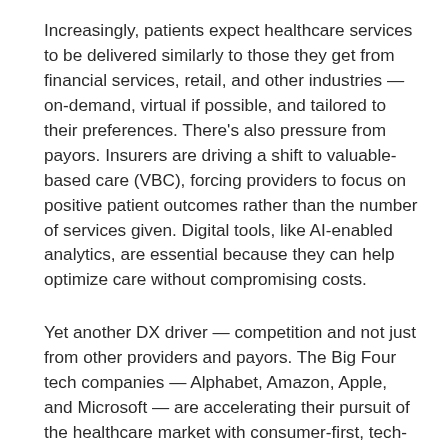Increasingly, patients expect healthcare services to be delivered similarly to those they get from financial services, retail, and other industries — on-demand, virtual if possible, and tailored to their preferences. There's also pressure from payors. Insurers are driving a shift to valuable-based care (VBC), forcing providers to focus on positive patient outcomes rather than the number of services given. Digital tools, like AI-enabled analytics, are essential because they can help optimize care without compromising costs.
Yet another DX driver — competition and not just from other providers and payors. The Big Four tech companies — Alphabet, Amazon, Apple, and Microsoft — are accelerating their pursuit of the healthcare market with consumer-first, tech-focused approaches.